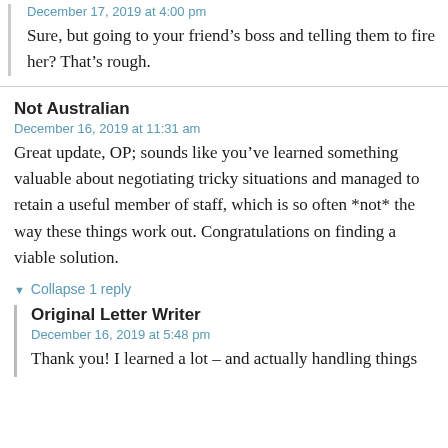December 17, 2019 at 4:00 pm
Sure, but going to your friend’s boss and telling them to fire her? That’s rough.
Not Australian
December 16, 2019 at 11:31 am
Great update, OP; sounds like you’ve learned something valuable about negotiating tricky situations and managed to retain a useful member of staff, which is so often *not* the way these things work out. Congratulations on finding a viable solution.
▼ Collapse 1 reply
Original Letter Writer
December 16, 2019 at 5:48 pm
Thank you! I learned a lot – and actually handling things